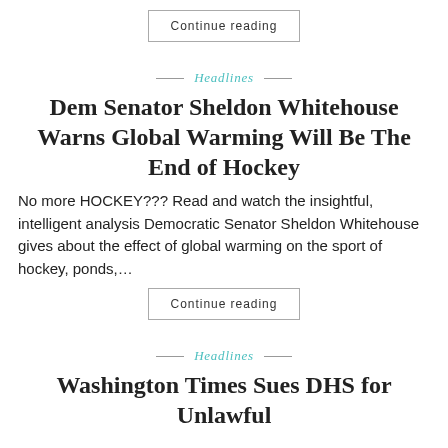Continue reading
Headlines
Dem Senator Sheldon Whitehouse Warns Global Warming Will Be The End of Hockey
No more HOCKEY??? Read and watch the insightful, intelligent analysis Democratic Senator Sheldon Whitehouse gives about the effect of global warming on the sport of hockey, ponds,...
Continue reading
Headlines
Washington Times Sues DHS for Unlawful